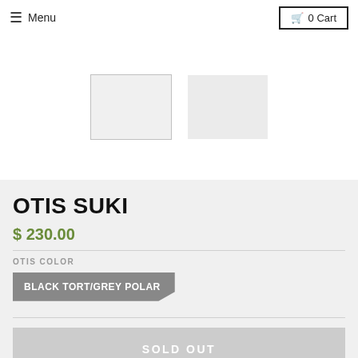≡ Menu  🛒 0 Cart
[Figure (photo): Two product thumbnail images side by side, light grey rectangles representing sunglasses product images]
OTIS SUKI
$ 230.00
OTIS COLOR
BLACK TORT/GREY POLAR
SOLD OUT
✗ Pickup currently unavailable at The CAMP